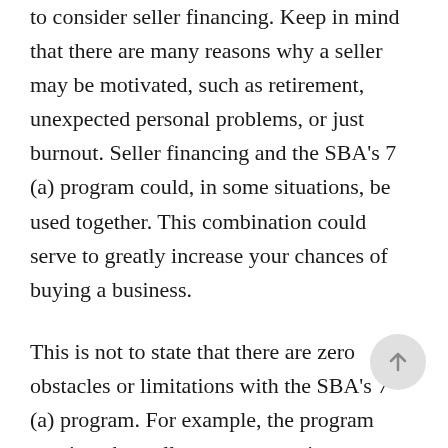to consider seller financing. Keep in mind that there are many reasons why a seller may be motivated, such as retirement, unexpected personal problems, or just burnout. Seller financing and the SBA's 7 (a) program could, in some situations, be used together. This combination could serve to greatly increase your chances of buying a business.
This is not to state that there are zero obstacles or limitations with the SBA's 7 (a) program. For example, the program requires that sellers cannot receive any form of payment for a full two-year time period. There are ways to address this problem, but it is something that